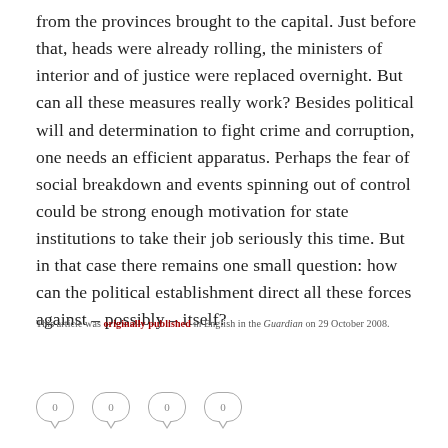from the provinces brought to the capital. Just before that, heads were already rolling, the ministers of interior and of justice were replaced overnight. But can all these measures really work? Besides political will and determination to fight crime and corruption, one needs an efficient apparatus. Perhaps the fear of social breakdown and events spinning out of control could be strong enough motivation for state institutions to take their job seriously this time. But in that case there remains one small question: how can the political establishment direct all these forces against – possibly – itself?
This article was originally published in English in the Guardian on 29 October 2008.
[Figure (other): Four speech/chat bubble icons each showing the number 0, arranged horizontally]